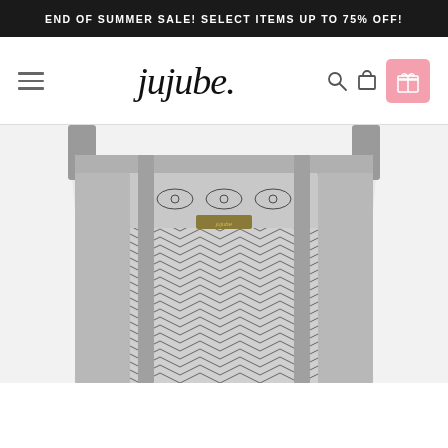END OF SUMMER SALE! SELECT ITEMS UP TO 75% OFF!
[Figure (screenshot): Jujube brand website navigation header with hamburger menu, jujube. script logo, search icon, cart icon, and pink gift icon]
[Figure (photo): Jujube tote bag with black and white chevron/herringbone pattern and geometric eye motifs near the top, with gray strap accents and a gold jujube logo tag]